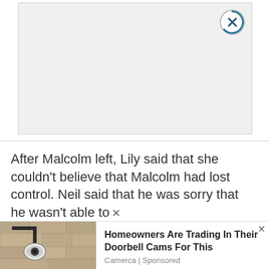[Figure (screenshot): Empty advertisement placeholder box with gray background and circular close button (X) in top right corner]
After Malcolm left, Lily said that she couldn't believe that Malcolm had lost control. Neil said that he was sorry that he wasn't able to
[Figure (photo): Outdoor wall-mounted security camera or lamp on stone/brick wall]
Homeowners Are Trading In Their Doorbell Cams For This
Camerca | Sponsored